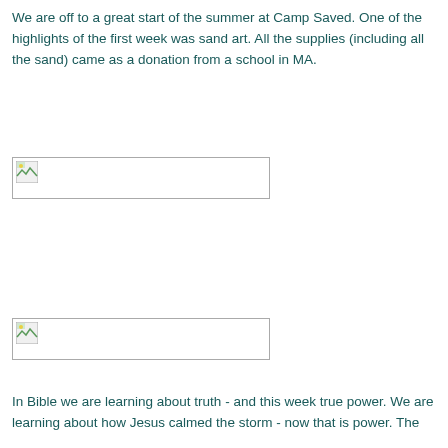We are off to a great start of the summer at Camp Saved. One of the highlights of the first week was sand art. All the supplies (including all the sand) came as a donation from a school in MA.
[Figure (photo): Broken image placeholder (first photo, sand art related)]
[Figure (photo): Broken image placeholder (second photo, sand art related)]
In Bible we are learning about truth - and this week true power. We are learning about how Jesus calmed the storm - now that is power. The